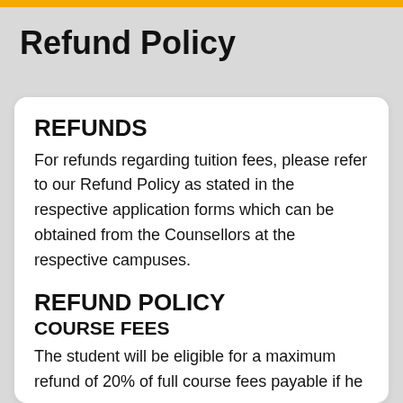Refund Policy
REFUNDS
For refunds regarding tuition fees, please refer to our Refund Policy as stated in the respective application forms which can be obtained from the Counsellors at the respective campuses.
REFUND POLICY
COURSE FEES
The student will be eligible for a maximum refund of 20% of full course fees payable if he